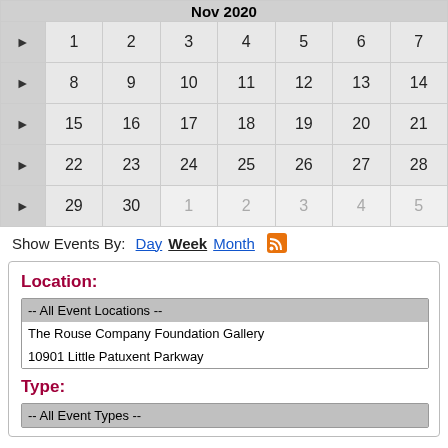|  | 1 | 2 | 3 | 4 | 5 | 6 | 7 |
| --- | --- | --- | --- | --- | --- | --- | --- |
| ▶ | 8 | 9 | 10 | 11 | 12 | 13 | 14 |
| ▶ | 15 | 16 | 17 | 18 | 19 | 20 | 21 |
| ▶ | 22 | 23 | 24 | 25 | 26 | 27 | 28 |
| ▶ | 29 | 30 | 1 | 2 | 3 | 4 | 5 |
Show Events By:  Day  Week  Month
Location:
-- All Event Locations --
The Rouse Company Foundation Gallery
10901 Little Patuxent Parkway
Type:
-- All Event Types --